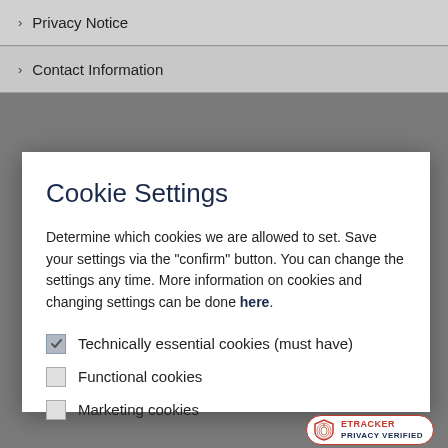> Privacy Notice
> Contact Information
Cookie Settings
Determine which cookies we are allowed to set. Save your settings via the "confirm" button. You can change the settings any time. More information on cookies and changing settings can be done here.
Technically essential cookies (must have)
Functional cookies
Marketing cookies
Confirm
[Figure (logo): etracker Privacy Verified badge with fingerprint icon]